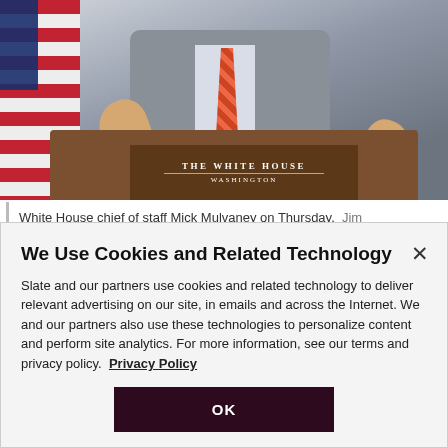[Figure (photo): White House press briefing photo showing a man in a grey suit with orange striped tie gesturing at The White House Washington podium, with an American flag to the left]
White House chief of staff Mick Mulvaney on Thursday. Jim Watson/AFP/Getty Images
We Use Cookies and Related Technology
Slate and our partners use cookies and related technology to deliver relevant advertising on our site, in emails and across the Internet. We and our partners also use these technologies to personalize content and perform site analytics. For more information, see our terms and privacy policy.  Privacy Policy
OK